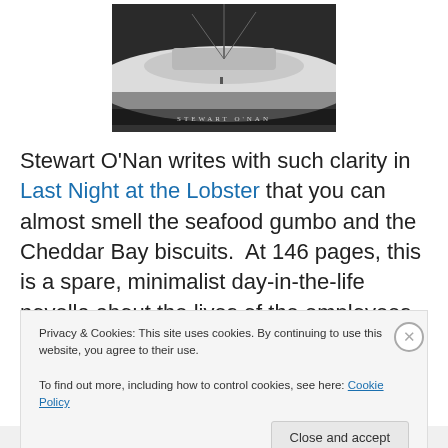[Figure (photo): Book cover of 'Last Night at the Lobster' by Stewart O'Nan — dark, snowy scene with the author name at the bottom]
Stewart O'Nan writes with such clarity in Last Night at the Lobster that you can almost smell the seafood gumbo and the Cheddar Bay biscuits.  At 146 pages, this is a spare, minimalist day-in-the-life novella about the lives of the employees at a shabby, downsized Red Lobster restaurant.
Privacy & Cookies: This site uses cookies. By continuing to use this website, you agree to their use.
To find out more, including how to control cookies, see here: Cookie Policy
Close and accept